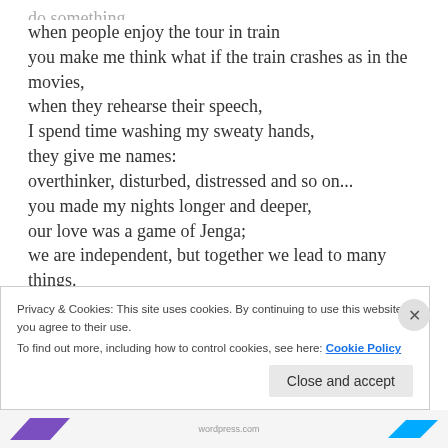when people enjoy the tour in train
you make me think what if the train crashes as in the movies,
when they rehearse their speech,
I spend time washing my sweaty hands,
they give me names:
overthinker, disturbed, distressed and so on...
you made my nights longer and deeper,
our love was a game of Jenga;
we are independent, but together we lead to many things.
Privacy & Cookies: This site uses cookies. By continuing to use this website, you agree to their use.
To find out more, including how to control cookies, see here: Cookie Policy
Close and accept